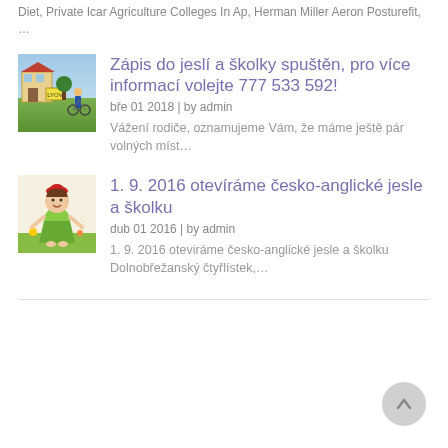Diet, Private Icar Agriculture Colleges In Ap, Herman Miller Aeron Posturefit, …
Zápis do jeslí a školky spuštěn, pro více informací volejte 777 533 592!
bře 01 2018 | by admin
Vážení rodiče, oznamujeme Vám, že máme ještě pár volných míst…
[Figure (photo): Thumbnail image showing outdoor scene with figure on bicycle and yellow sign]
1. 9. 2016 otevíráme česko-anglické jesle a školku
dub 01 2016 | by admin
1. 9. 2016 oteviráme česko-anglické jesle a školku Dolnobřežanský čtyřlístek,…
[Figure (illustration): Thumbnail illustration of a girl figure in green dress on grass]